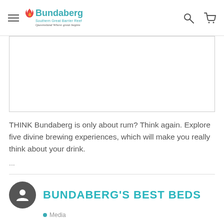Bundaberg Southern Great Barrier Reef Queensland Where great begins
[Figure (photo): Rectangular image placeholder with border, mostly white/empty area]
THINK Bundaberg is only about rum? Think again. Explore five divine brewing experiences, which will make you really think about your drink.
...
BUNDABERG'S BEST BEDS
Media